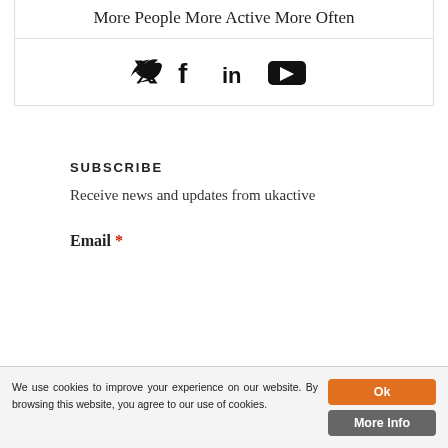More People More Active More Often
[Figure (infographic): Social media icons: Twitter, Facebook, LinkedIn, YouTube]
SUBSCRIBE
Receive news and updates from ukactive
Email *
We use cookies to improve your experience on our website. By browsing this website, you agree to our use of cookies.